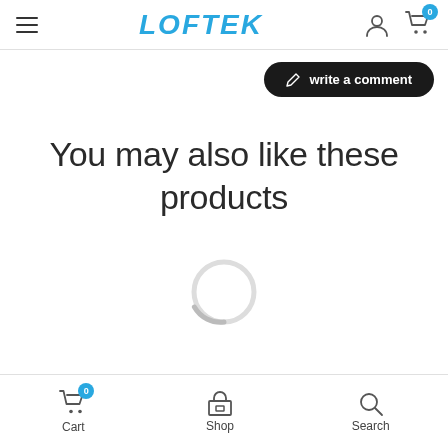LOFTEK
[Figure (screenshot): Write a comment button (dark rounded pill-shaped button with pencil icon)]
You may also like these products
[Figure (other): Loading spinner circle]
Cart  Shop  Search